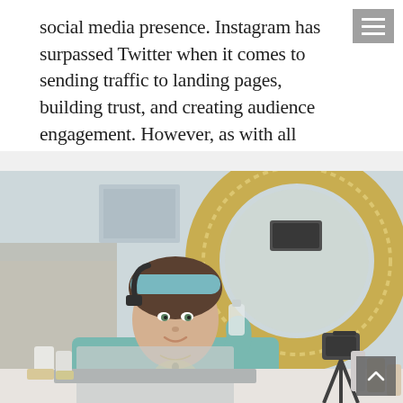social media presence. Instagram has surpassed Twitter when it comes to sending traffic to landing pages, building trust, and creating audience engagement. However, as with all social media, it takes time to grow your account, and…
[Figure (photo): A young woman with a teal headband and teal blazer sits at a desk holding a small product bottle near a ring light and camera setup, with a laptop and beauty/skincare products on the desk in front of her, in a bedroom setting.]